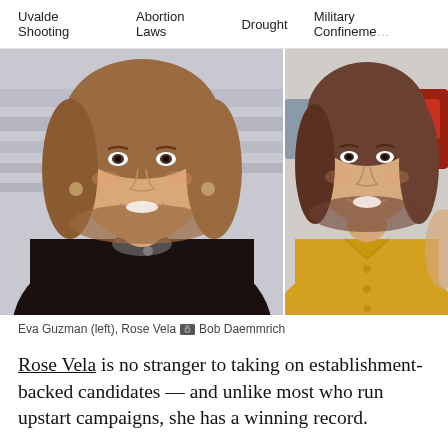Uvalde Shooting   Abortion Laws   Drought   Military Confinement
[Figure (photo): Two side-by-side photos: left photo shows Eva Guzman in a black judicial robe with shoulder-length brown hair; right photo shows Rose Vela in a yellow collared shirt with dark shoulder-length hair, smiling outdoors near parked cars.]
Eva Guzman (left), Rose Vela 📷 Bob Daemmrich
Rose Vela is no stranger to taking on establishment-backed candidates — and unlike most who run upstart campaigns, she has a winning record.